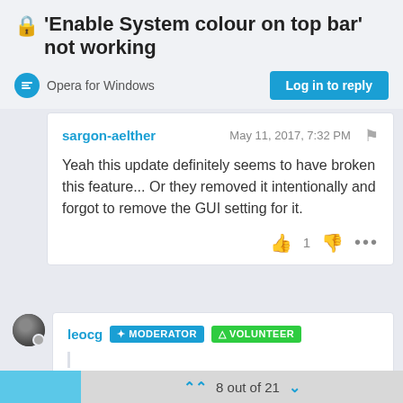'Enable System colour on top bar' not working
Opera for Windows
Log in to reply
sargon-aelther
May 11, 2017, 7:32 PM
Yeah this update definitely seems to have broken this feature... Or they removed it intentionally and forgot to remove the GUI setting for it.
1
leocg
MODERATOR
VOLUNTEER
May 11, 2017, 7:33 PM
8 out of 21